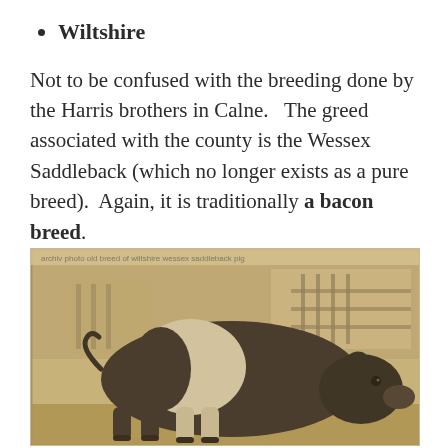Wiltshire
Not to be confused with the breeding done by the Harris brothers in Calne.   The greed associated with the county is the Wessex Saddleback (which no longer exists as a pure breed).  Again, it is traditionally a bacon breed.
[Figure (photo): Old black and white photograph of a Wessex Saddleback pig standing in profile, showing the characteristic dark body with a white band/saddle across the shoulders and front legs. The pig is large and stocky, photographed outdoors at what appears to be an agricultural show.]